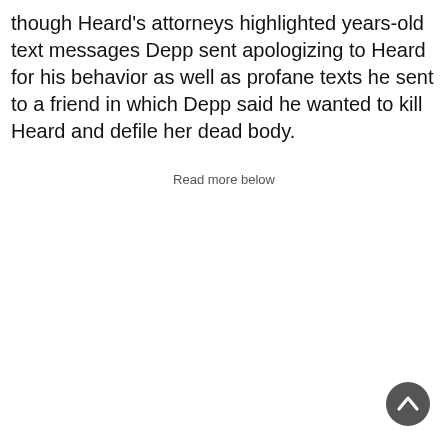though Heard's attorneys highlighted years-old text messages Depp sent apologizing to Heard for his behavior as well as profane texts he sent to a friend in which Depp said he wanted to kill Heard and defile her dead body.
Read more below